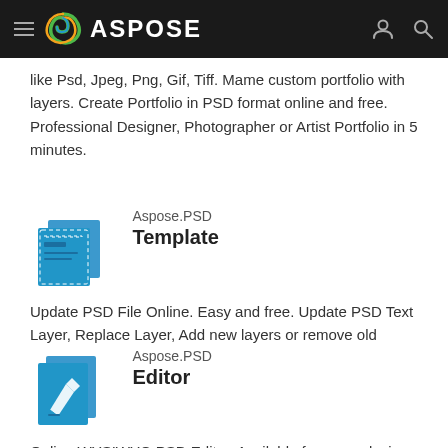ASPOSE
like Psd, Jpeg, Png, Gif, Tiff. Mame custom portfolio with layers. Create Portfolio in PSD format online and free. Professional Designer, Photographer or Artist Portfolio in 5 minutes.
[Figure (logo): Aspose PSD Template icon — blue document/template icon]
Aspose.PSD Template
Update PSD File Online. Easy and free. Update PSD Text Layer, Replace Layer, Add new layers or remove old
[Figure (logo): Aspose PSD Editor icon — blue document with pen/edit icon]
Aspose.PSD Editor
Online WYSIWYG PSD Editor. Available from any device. Change your PSD and PSB file online. Update on PSD Layer